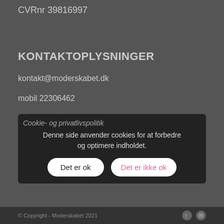7020 Lønvig
CVRnr 39816997
KONTAKTOPLYSNINGER
kontakt@moderskabet.dk
mobil 22306462
Cookie- og privatlivspolitik
Denne side anvender cookies for at forbedre og optimere indholdet.
Det er ok   Det er ikke ok
© Copyright - Moderskabet 2021